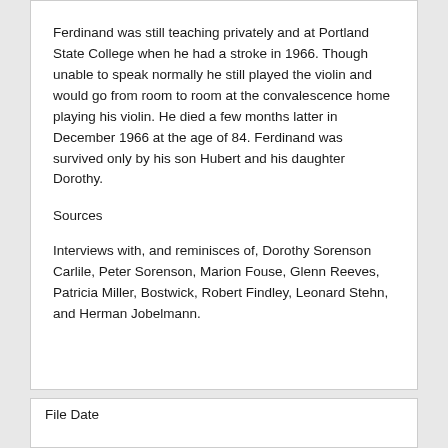Ferdinand was still teaching privately and at Portland State College when he had a stroke in 1966. Though unable to speak normally he still played the violin and would go from room to room at the convalescence home playing his violin. He died a few months latter in December 1966 at the age of 84. Ferdinand was survived only by his son Hubert and his daughter Dorothy.
Sources
Interviews with, and reminisces of, Dorothy Sorenson Carlile, Peter Sorenson, Marion Fouse, Glenn Reeves, Patricia Miller, Bostwick, Robert Findley, Leonard Stehn, and Herman Jobelmann.
File Date